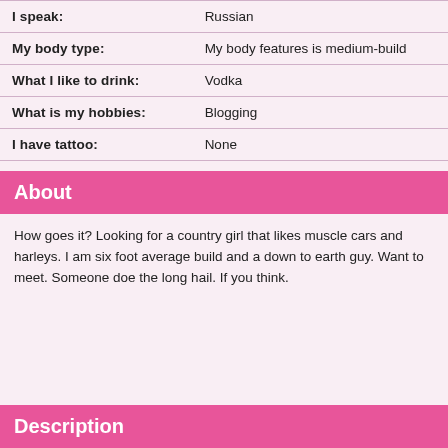| I speak: | Russian |
| My body type: | My body features is medium-build |
| What I like to drink: | Vodka |
| What is my hobbies: | Blogging |
| I have tattoo: | None |
About
How goes it? Looking for a country girl that likes muscle cars and harleys. I am six foot average build and a down to earth guy. Want to meet. Someone doe the long hail. If you think.
Description